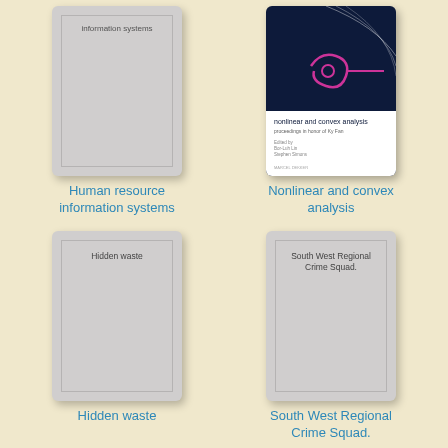[Figure (illustration): Book cover for 'Human resource information systems' - plain grey cover with inner border and title text at top]
Human resource information systems
[Figure (illustration): Book cover for 'Nonlinear and convex analysis' - dark navy cover with pink/magenta spiral graphic, lecture notes in pure and applied mathematics series]
Nonlinear and convex analysis
[Figure (illustration): Book cover for 'Hidden waste' - plain grey cover with inner border and title text at top]
Hidden waste
[Figure (illustration): Book cover for 'South West Regional Crime Squad.' - plain grey cover with inner border and title text at top]
South West Regional Crime Squad.